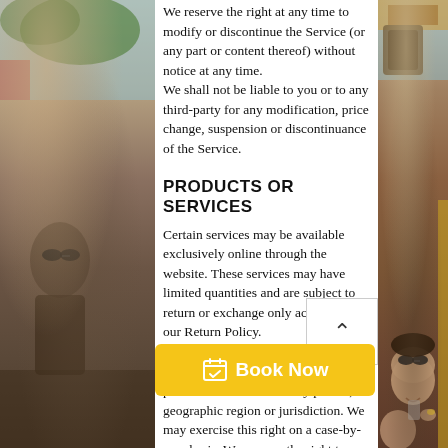We reserve the right at any time to modify or discontinue the Service (or any part or content thereof) without notice at any time. We shall not be liable to you or to any third-party for any modification, price change, suspension or discontinuance of the Service.
PRODUCTS OR SERVICES
Certain services may be available exclusively online through the website. These services may have limited quantities and are subject to return or exchange only according to our Return Policy. We reserve the right, but are not obligated, to limit the sales of our products or Services to any person, geographic region or jurisdiction. We may exercise this right on a case-by-case basis. We reserve the right to limit the quantities of any products or services that we offer. All descriptions of products or
[Figure (photo): Left photo strip showing people, partially visible]
[Figure (photo): Right photo strip showing people with sunglasses on a vehicle]